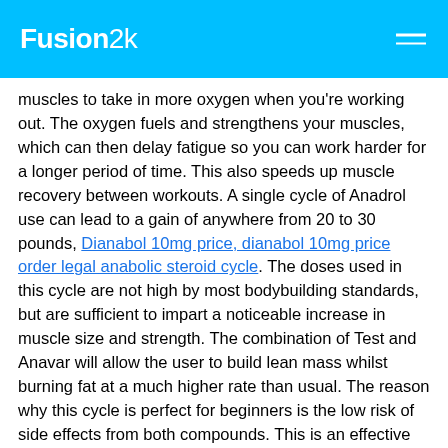Fusion2k
muscles to take in more oxygen when you're working out. The oxygen fuels and strengthens your muscles, which can then delay fatigue so you can work harder for a longer period of time. This also speeds up muscle recovery between workouts. A single cycle of Anadrol use can lead to a gain of anywhere from 20 to 30 pounds, Dianabol 10mg price, dianabol 10mg price order legal anabolic steroid cycle. The doses used in this cycle are not high by most bodybuilding standards, but are sufficient to impart a noticeable increase in muscle size and strength. The combination of Test and Anavar will allow the user to build lean mass whilst burning fat at a much higher rate than usual. The reason why this cycle is perfect for beginners is the low risk of side effects from both compounds. This is an effective stack for hardening, cutting, and gaining lean muscle mass. Neither agent is capable of converting to estrogen, so